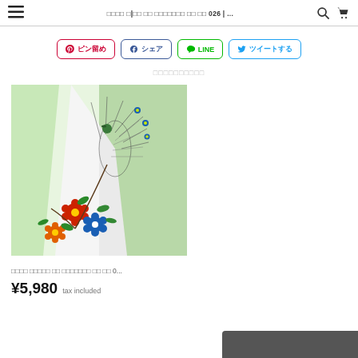≡  □□□□ □□□□ □□ □□□□□□□ □□ □□ 026 | ...  🔍  🛒
[Figure (other): Social share buttons: Pinterest (ピン留め), Facebook (シェア), LINE, Twitter (ツイートする)]
□□□□□□□□□□
[Figure (photo): Light green Japanese kimono with colorful embroidered bird (peacock) and floral pattern including red, blue, yellow and orange flowers with green leaves on the collar/lapel area]
□□□□ □□□□□ □□ □□□□□□□ □□ □□ 0...
¥5,980  tax included